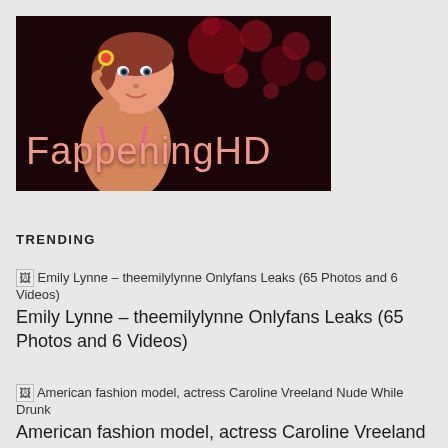[Figure (illustration): FappeningHD banner with illustrated woman eating a lollipop against dark red background, text reads FappeningHD]
TRENDING
[Figure (photo): Thumbnail image for Emily Lynne – theemilylynne Onlyfans Leaks (65 Photos and 6 Videos)]
Emily Lynne – theemilylynne Onlyfans Leaks (65 Photos and 6 Videos)
[Figure (photo): Thumbnail image for American fashion model, actress Caroline Vreeland Nude While Drunk]
American fashion model, actress Caroline Vreeland